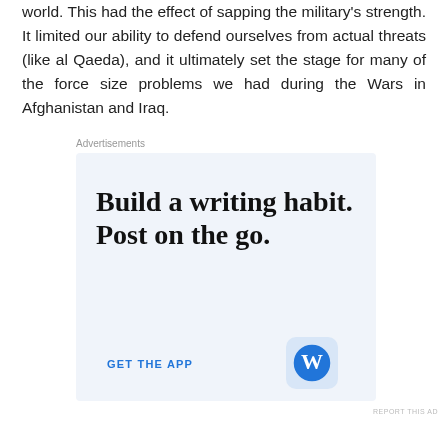world. This had the effect of sapping the military's strength. It limited our ability to defend ourselves from actual threats (like al Qaeda), and it ultimately set the stage for many of the force size problems we had during the Wars in Afghanistan and Iraq.
Advertisements
[Figure (other): WordPress advertisement: 'Build a writing habit. Post on the go.' with 'GET THE APP' call-to-action and WordPress logo icon]